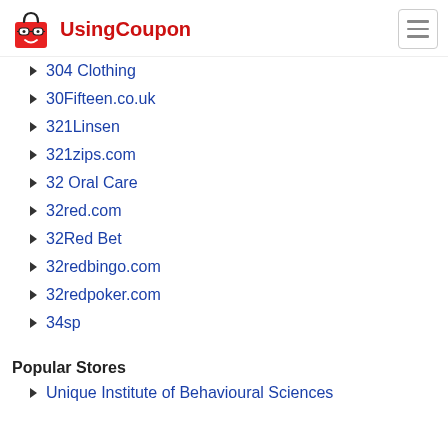UsingCoupon
304 Clothing
30Fifteen.co.uk
321Linsen
321zips.com
32 Oral Care
32red.com
32Red Bet
32redbingo.com
32redpoker.com
34sp
Popular Stores
Unique Institute of Behavioural Sciences